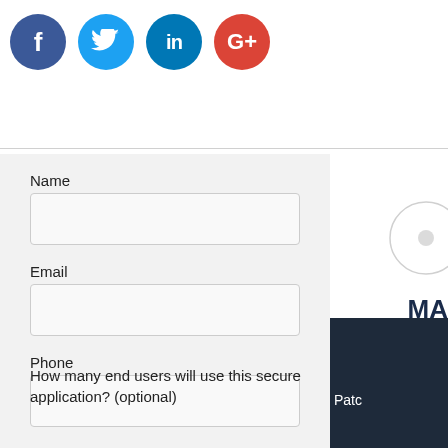[Figure (illustration): Row of four social media icon circles: Facebook (dark blue, f), Twitter (light blue, bird), LinkedIn (medium blue, in), Google+ (red, G+)]
Name
Email
Phone
Company
How many end users will use this secure application? (optional)
[Figure (illustration): Partial view of right sidebar with bold text 'MA' and dark navy triangle/block at bottom with text 'Patc']